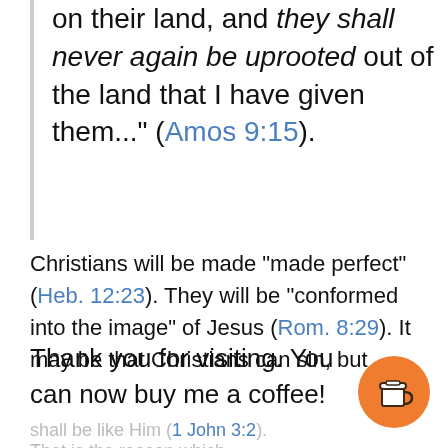on their land, and they shall never again be uprooted out of the land that I have given them..." (Amos 9:15).
Christians will be made "made perfect" (Heb. 12:23). They will be "conformed into the image" of Jesus (Rom. 8:29). It may be that Christians can sin, but
Thank you for visiting. You can now buy me a coffee!
shall be like Him (1 John 3:2). That is the reason which...